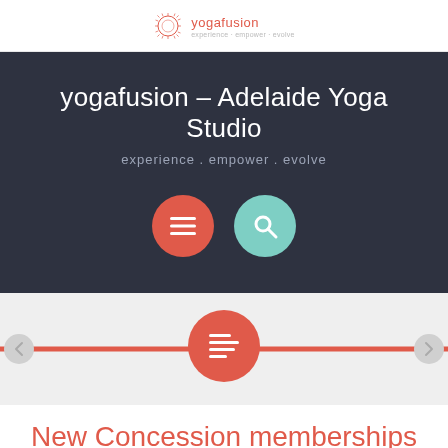yogafusion
yogafusion – Adelaide Yoga Studio
experience . empower . evolve
[Figure (screenshot): Two circular icon buttons: a red hamburger menu button and a teal search button]
[Figure (infographic): Slider section with red horizontal line and a red circle icon in center, with left and right navigation arrows]
New Concession memberships available!
At yogafusion we're passionate about the